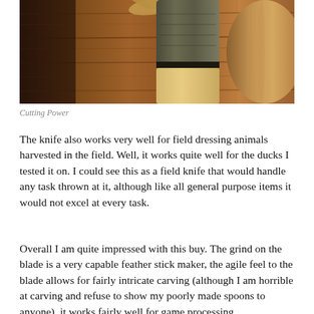[Figure (photo): Close-up photo of a knife with a wooden handle resting on a wooden surface, showing wood shavings and grain detail. The handle has contrasting wood layers including a dark band and lighter wood.]
Cutting Power
The knife also works very well for field dressing animals harvested in the field. Well, it works quite well for the ducks I tested it on. I could see this as a field knife that would handle any task thrown at it, although like all general purpose items it would not excel at every task.
Overall I am quite impressed with this buy. The grind on the blade is a very capable feather stick maker, the agile feel to the blade allows for fairly intricate carving (although I am horrible at carving and refuse to show my poorly made spoons to anyone), it works fairly well for game processing